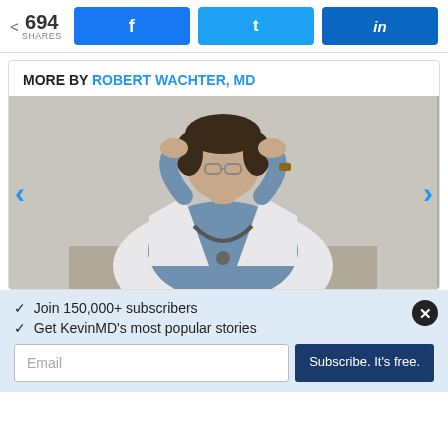< 694 SHARES
f
t
in
MORE BY ROBERT WACHTER, MD
[Figure (photo): A doctor in a white coat with a stethoscope, head down with hands on head, appearing stressed or exhausted]
✓  Join 150,000+ subscribers
✓  Get KevinMD's most popular stories
Email
Subscribe. It's free.